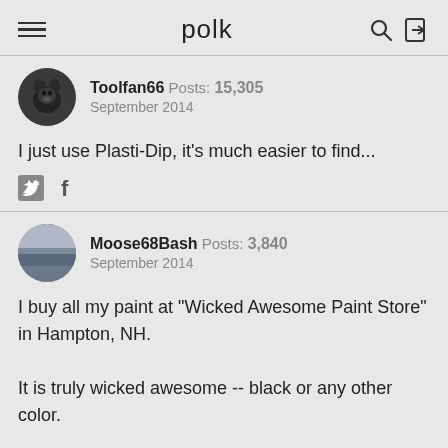polk
Toolfan66  Posts: 15,305  September 2014
I just use Plasti-Dip, it's much easier to find...
Moose68Bash  Posts: 3,840  September 2014
I buy all my paint at "Wicked Awesome Paint Store" in Hampton, NH.

It is truly wicked awesome -- black or any other color.

However, my favorite product from the store is "Mad Dog"